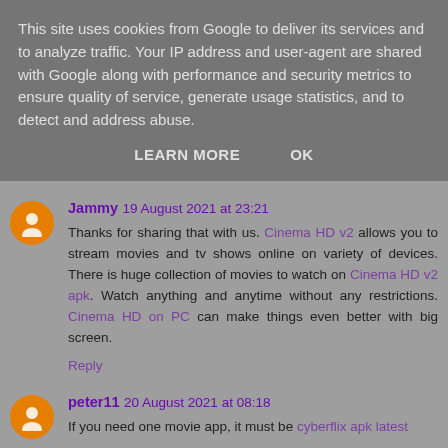This site uses cookies from Google to deliver its services and to analyze traffic. Your IP address and user-agent are shared with Google along with performance and security metrics to ensure quality of service, generate usage statistics, and to detect and address abuse.
LEARN MORE    OK
Jammy 19 August 2021 at 23:21
Thanks for sharing that with us. Cinema HD v2 allows you to stream movies and tv shows online on variety of devices. There is huge collection of movies to watch on Cinema HD v2 apk. Watch anything and anytime without any restrictions. Cinema HD on PC can make things even better with big screen.
Reply
peter11 20 August 2021 at 08:18
If you need one movie app, it must be cyberflix apk latest